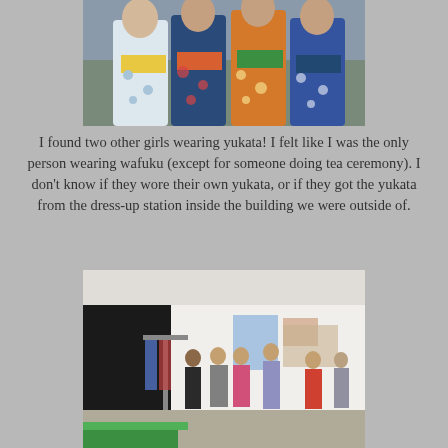[Figure (photo): Four girls wearing colorful yukata (Japanese summer kimono) outdoors at an event. One wears white with blue floral pattern and yellow obi, one wears blue floral pattern with orange obi, one wears orange with floral pattern and green obi, and one wears blue floral pattern. They are posing together smiling.]
I found two other girls wearing yukata! I felt like I was the only person wearing wafuku (except for someone doing tea ceremony). I don't know if they wore their own yukata, or if they got the yukata from the dress-up station inside the building we were outside of.
[Figure (photo): Interior of an exhibition or event hall showing people browsing clothing and artwork. Multiple visitors in casual and yukata clothing are visible, with paintings hanging on a white wall in the background and clothing racks on the left side. A green table is visible in the foreground.]